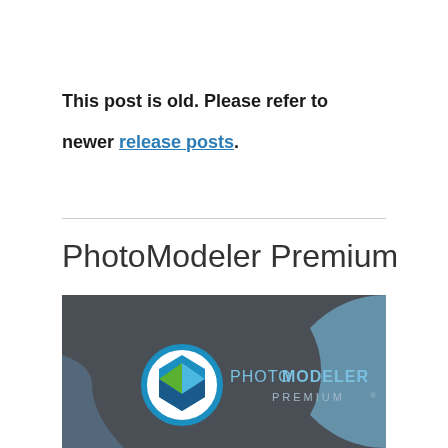This post is old. Please refer to newer release posts.
[Figure (logo): PhotoModeler Premium 2019 product logo on dark grey background with circular graphic elements and blue accent]
PhotoModeler Premium